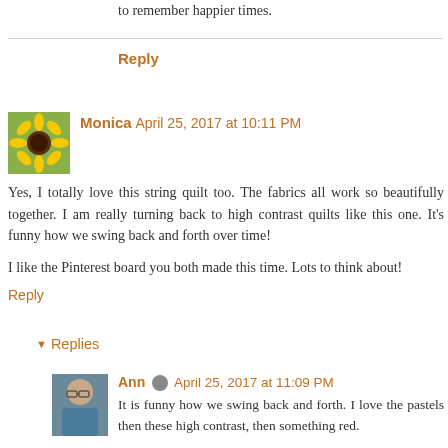to remember happier times.
Reply
Monica April 25, 2017 at 10:11 PM
Yes, I totally love this string quilt too. The fabrics all work so beautifully together. I am really turning back to high contrast quilts like this one. It's funny how we swing back and forth over time!

I like the Pinterest board you both made this time. Lots to think about!
Reply
Replies
Ann April 25, 2017 at 11:09 PM
It is funny how we swing back and forth. I love the pastels then these high contrast, then something red.